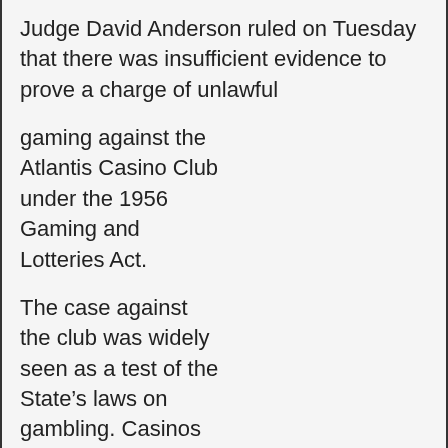Judge David Anderson ruled on Tuesday that there was insufficient evidence to prove a charge of unlawful
gaming against the Atlantis Casino Club under the 1956 Gaming and Lotteries Act.
The case against the club was widely seen as a test of the State’s laws on gambling. Casinos are illegal under the 1956 Act but this has not stopped up to 50 casinos operating as private members’ clubs opening up in recent years.
The favourable verdict has come too late for Paul